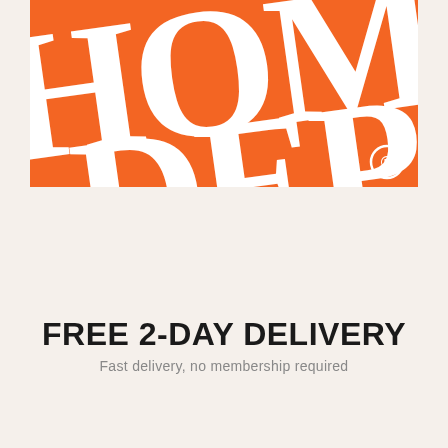[Figure (logo): Home Depot logo — large white bold serif letters 'HOME DEPOT' on bright orange background, cropped to show tops of letters diagonally, with registered trademark symbol in bottom right]
[Figure (illustration): Orange line-art delivery truck icon]
FREE 2-DAY DELIVERY
Fast delivery, no membership required